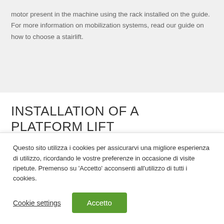motor present in the machine using the rack installed on the guide.
For more information on mobilization systems, read our guide on how to choose a stairlift.
INSTALLATION OF A PLATFORM LIFT
Questo sito utilizza i cookies per assicurarvi una migliore esperienza di utilizzo, ricordando le vostre preferenze in occasione di visite ripetute. Premenso su 'Accetto' acconsenti all'utilizzo di tutti i cookies.
Cookie settings
Accetto